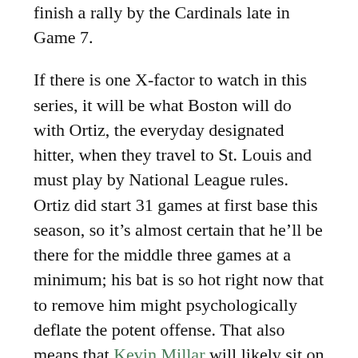finish a rally by the Cardinals late in Game 7.
If there is one X-factor to watch in this series, it will be what Boston will do with Ortiz, the everyday designated hitter, when they travel to St. Louis and must play by National League rules. Ortiz did start 31 games at first base this season, so it's almost certain that he'll be there for the middle three games at a minimum; his bat is so hot right now that to remove him might psychologically deflate the potent offense. That also means that Kevin Millar will likely sit on the bench and only appear late to pinch-hit for a pitcher, but Francona may give Trot Nixon a rest in one game and let the Millar adventure to right field. If Ortiz can shake the rust, then there shouldn't be much of a